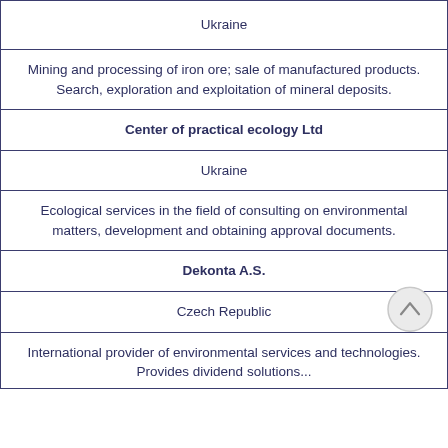| Ukraine |
| Mining and processing of iron ore; sale of manufactured products. Search, exploration and exploitation of mineral deposits. |
| Center of practical ecology Ltd |
| Ukraine |
| Ecological services in the field of consulting on environmental matters, development and obtaining approval documents. |
| Dekonta A.S. |
| Czech Republic |
| International provider of environmental services and technologies. Provides dividend solutions... |